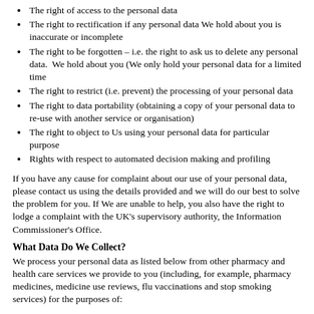The right of access to the personal data
The right to rectification if any personal data We hold about you is inaccurate or incomplete
The right to be forgotten – i.e. the right to ask us to delete any personal data.  We hold about you (We only hold your personal data for a limited time
The right to restrict (i.e. prevent) the processing of your personal data
The right to data portability (obtaining a copy of your personal data to re-use with another service or organisation)
The right to object to Us using your personal data for particular purpose
Rights with respect to automated decision making and profiling
If you have any cause for complaint about our use of your personal data, please contact us using the details provided and we will do our best to solve the problem for you. If We are unable to help, you also have the right to lodge a complaint with the UK's supervisory authority, the Information Commissioner's Office.
What Data Do We Collect?
We process your personal data as listed below from other pharmacy and health care services we provide to you (including, for example, pharmacy medicines, medicine use reviews, flu vaccinations and stop smoking services) for the purposes of: